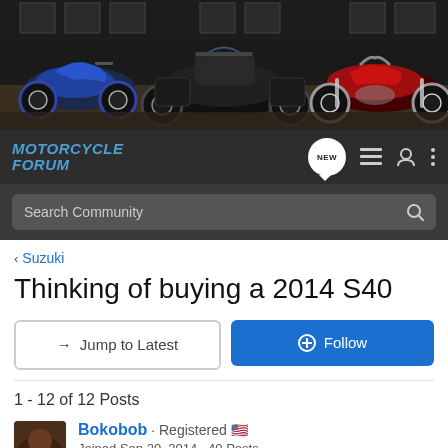[Figure (photo): Banner photo showing three motorcycles in a garage/warehouse setting: a blue sport bike on the left, a large dark touring bike in the center, and a red cruiser on the right]
MOTORCYCLE FORUM
Search Community
< Suzuki
Thinking of buying a 2014 S40
→ Jump to Latest
⊕ Follow
1 - 12 of 12 Posts
Bokobob · Registered 🇺🇸
Joined Sep 20, 2014 · 40 Posts